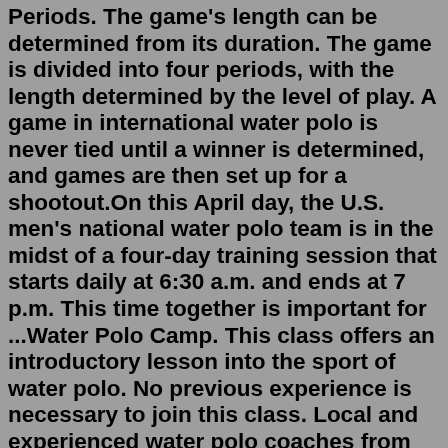Periods. The game's length can be determined from its duration. The game is divided into four periods, with the length determined by the level of play. A game in international water polo is never tied until a winner is determined, and games are then set up for a shootout.On this April day, the U.S. men's national water polo team is in the midst of a four-day training session that starts daily at 6:30 a.m. and ends at 7 p.m. This time together is important for ...Water Polo Camp. This class offers an introductory lesson into the sport of water polo. No previous experience is necessary to join this class. Local and experienced water polo coaches from South Coast Aquatics instruct this class. This class is normally offered during the summer season.The object of the game is to move the polo ball down the field, hitting the ball through the goalposts to score. ... The match lasts about one and a half to two hours long and is divided into timed periods called chukkers - each chukker is 7 ½ minutes long. Matches are either four or six chukkers divided by half time.SINGAPORE - Despite